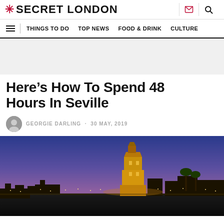Secret London
THINGS TO DO · TOP NEWS · FOOD & DRINK · CULTURE
Here’s How To Spend 48 Hours In Seville
GEORGIE DARLING · 30 MAY, 2019
[Figure (photo): Night cityscape of Seville showing the Torre del Oro and city skyline illuminated against a purple and blue twilight sky]